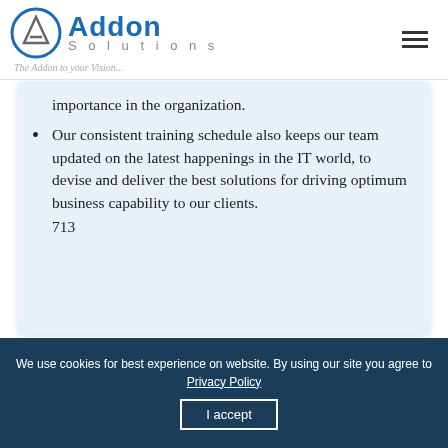[Figure (logo): Addon Solutions logo with circular icon containing triangle, blue 'Addon' text, grey 'Solutions' text, italic tagline 'The Addon to your Vision...']
importance in the organization.
Our consistent training schedule also keeps our team updated on the latest happenings in the IT world, to devise and deliver the best solutions for driving optimum business capability to our clients.
713
We use cookies for best experience on website. By using our site you agree to Privacy Policy  I accept